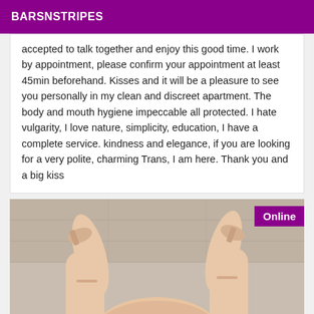BARSNSTRIPES
accepted to talk together and enjoy this good time. I work by appointment, please confirm your appointment at least 45min beforehand. Kisses and it will be a pleasure to see you personally in my clean and discreet apartment. The body and mouth hygiene impeccable all protected. I hate vulgarity, I love nature, simplicity, education, I have a complete service. kindness and elegance, if you are looking for a very polite, charming Trans, I am here. Thank you and a big kiss
[Figure (photo): Photo of legs wearing high heels on a wooden floor, with an 'Online' badge in the top right corner]